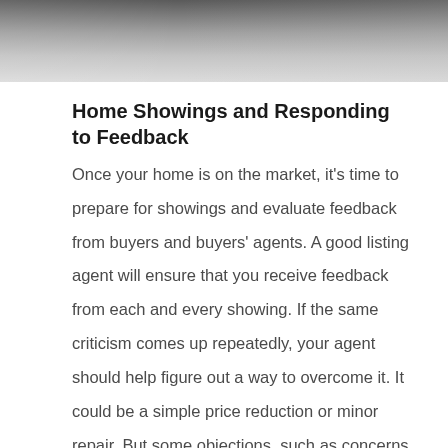[Figure (photo): Cropped photo showing two people at the top of the page, partially visible, in an interior setting.]
Home Showings and Responding to Feedback
Once your home is on the market, it's time to prepare for showings and evaluate feedback from buyers and buyers' agents. A good listing agent will ensure that you receive feedback from each and every showing. If the same criticism comes up repeatedly, your agent should help figure out a way to overcome it. It could be a simple price reduction or minor repair. But some objections, such as concerns about location, are not as easy to overcome. This usually means continuing to market the home for the right buyer, and it could be a matter of time...